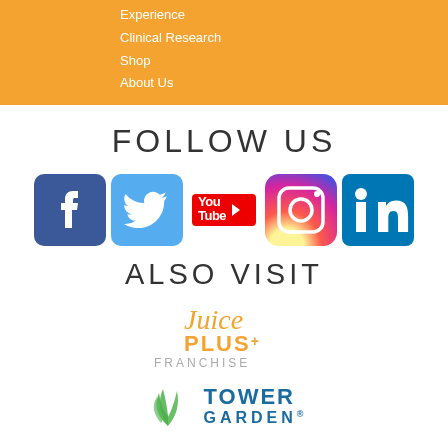Experience
Clinical Research
Shop
About Us
FOLLOW US
[Figure (illustration): Social media icons: Facebook, Twitter, YouTube, Instagram, LinkedIn]
ALSO VISIT
[Figure (logo): Juice Plus+ Franchise logo in orange and gray]
[Figure (logo): Tower Garden logo with green leaf icon and blue text]